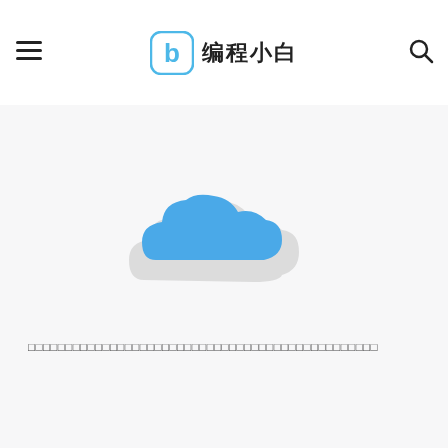编程小白
[Figure (illustration): A cloud icon with blue top portion and light gray bottom portion, used as a loading or empty-state illustration]
□□□□□□□□□□□□□□□□□□□□□□□□□□□□□□□□□□□□□□□□□□□□□